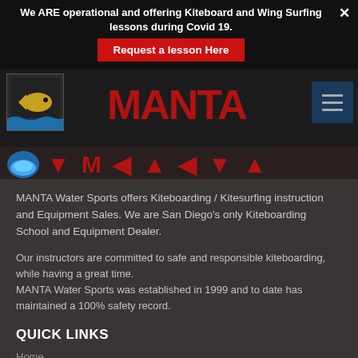We ARE operational and offering Kiteboard and Wing Surfing lessons during Covid 19.
Request a lesson Here
[Figure (logo): MANTA Water Sports logo with fish/wave icon and blue circle emblem, red stylized MANTA text, and hamburger menu icon]
MANTA Water Sports offers Kiteboarding / Kitesurfing instruction and Equipment Sales. We are San Diego's only Kiteboarding School and Equipment Dealer.
Our instructors are committed to safe and responsible kiteboarding, while having a great time.
MANTA Water Sports was established in 1999 and to date has maintained a 100% safety record.
QUICK LINKS
Home
Kiteboard / Kitesurf / Wing Foil / Wing Surf Lessons